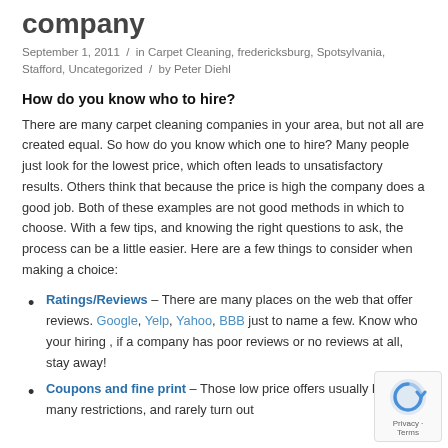company
September 1, 2011 / in Carpet Cleaning, fredericksburg, Spotsylvania, Stafford, Uncategorized / by Peter Diehl
How do you know who to hire?
There are many carpet cleaning companies in your area, but not all are created equal. So how do you know which one to hire? Many people just look for the lowest price, which often leads to unsatisfactory results. Others think that because the price is high the company does a good job. Both of these examples are not good methods in which to choose. With a few tips, and knowing the right questions to ask, the process can be a little easier. Here are a few things to consider when making a choice:
Ratings/Reviews – There are many places on the web that offer reviews. Google, Yelp, Yahoo, BBB just to name a few. Know who your hiring , if a company has poor reviews or no reviews at all, stay away!
Coupons and fine print – Those low price offers usually have many restrictions, and rarely turn out